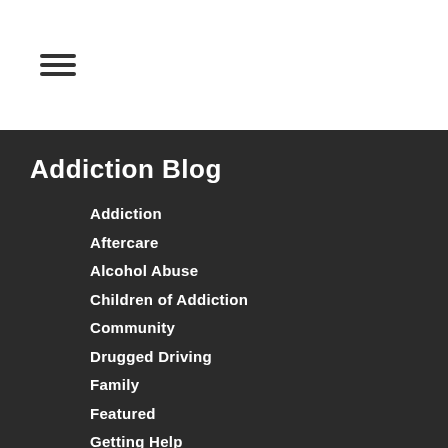[Figure (other): Hamburger menu icon (three horizontal lines)]
Addiction Blog
Addiction
Aftercare
Alcohol Abuse
Children of Addiction
Community
Drugged Driving
Family
Featured
Getting Help
Health & Wellness
Heroin
Heroin Addiction
Opioid Addiction